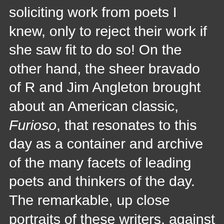soliciting work from poets I knew, only to reject their work if she saw fit to do so! On the other hand, the sheer bravado of R and Jim Angleton brought about an American classic, Furioso, that resonates to this day as a container and archive of the many facets of leading poets and thinkers of the day. The remarkable, up close portraits of these writers, against the backdrop of the coming war has much to teach us — initial denial and eventual dawning of a force that would sweep across all our lives, particularly following the betrayal of the Molotov-Ribbentrop agreement between Germany and Russia. Suddenly, Pound's affair with fascism ceased being an intellectual stance. And raised the question of committed poetry that didn't bark. Many years after this time, at a reunion at the Library of Congress of all the Poets Laureate